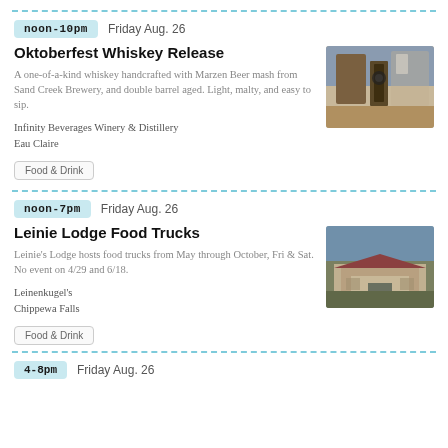noon-10pm  Friday Aug. 26
Oktoberfest Whiskey Release
A one-of-a-kind whiskey handcrafted with Marzen Beer mash from Sand Creek Brewery, and double barrel aged. Light, malty, and easy to sip.
Infinity Beverages Winery & Distillery
Eau Claire
Food & Drink
[Figure (photo): A bottle of whiskey on an outdoor table with chairs and brick building in background]
noon-7pm  Friday Aug. 26
Leinie Lodge Food Trucks
Leinie's Lodge hosts food trucks from May through October, Fri & Sat. No event on 4/29 and 6/18.
Leinenkugel's
Chippewa Falls
Food & Drink
[Figure (photo): Exterior of Leinie Lodge building with parking lot and cloudy sky]
4-8pm  Friday Aug. 26